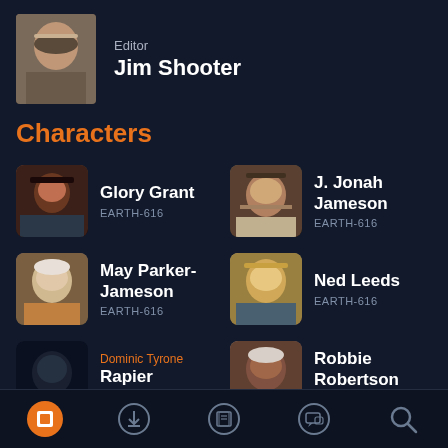Editor
Jim Shooter
Characters
Glory Grant
EARTH-616
J. Jonah Jameson
EARTH-616
May Parker-Jameson
EARTH-616
Ned Leeds
EARTH-616
Dominic Tyrone
Rapier
EARTH-616
Robbie Robertson
EARTH-616